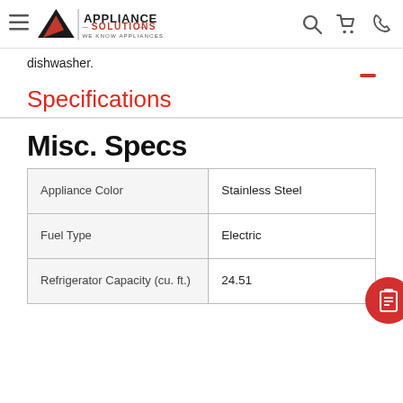Appliance Solutions — We Know Appliances
dishwasher.
Specifications
Misc. Specs
|  |  |
| --- | --- |
| Appliance Color | Stainless Steel |
| Fuel Type | Electric |
| Refrigerator Capacity (cu. ft.) | 24.51 |